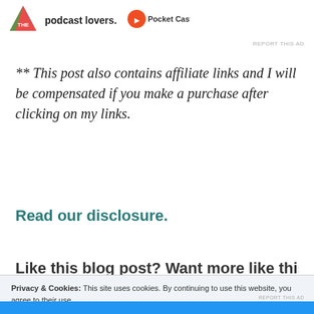[Figure (logo): Colorful triangular logo icon for a podcast app]
podcast lovers.
REPORT THIS AD
** This post also contains affiliate links and I will be compensated if you make a purchase after clicking on my links.
Read our disclosure.
Like this blog post? Want more like this? Sign up for
Privacy & Cookies: This site uses cookies. By continuing to use this website, you agree to their use.
To find out more, including how to control cookies, see here: Cookie Policy
Close and accept